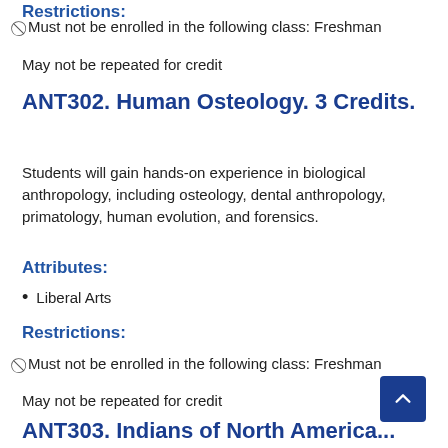Restrictions:
🚫 Must not be enrolled in the following class: Freshman
May not be repeated for credit
ANT302. Human Osteology. 3 Credits.
Students will gain hands-on experience in biological anthropology, including osteology, dental anthropology, primatology, human evolution, and forensics.
Attributes:
Liberal Arts
Restrictions:
🚫 Must not be enrolled in the following class: Freshman
May not be repeated for credit
ANT303. Indians of North America...